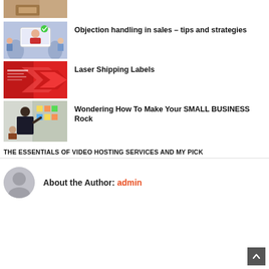[Figure (photo): Partial thumbnail of hands at desk (cropped at top)]
[Figure (illustration): Blue background with customer service agent on a laptop screen illustration]
Objection handling in sales – tips and strategies
[Figure (illustration): Red background with large arrow pointing right and text overlay]
Laser Shipping Labels
[Figure (photo): Person writing on sticky notes on a glass wall in an office]
Wondering How To Make Your SMALL BUSINESS Rock
THE ESSENTIALS OF VIDEO HOSTING SERVICES AND MY PICK
About the Author: admin
[Figure (illustration): Circular user avatar placeholder icon]